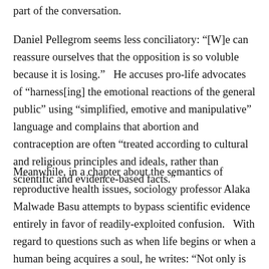part of the conversation.
Daniel Pellegrom seems less conciliatory: “[W]e can reassure ourselves that the opposition is so voluble because it is losing.”  He accuses pro-life advocates of “harness[ing] the emotional reactions of the general public” using “simplified, emotive and manipulative” language and complains that abortion and contraception are often “treated according to cultural and religious principles and ideals, rather than scientific and evidence-based facts.”
Meanwhile, in a chapter about the semantics of reproductive health issues, sociology professor Alaka Malwade Basu attempts to bypass scientific evidence entirely in favor of readily-exploited confusion.  With regard to questions such as when life begins or when a human being acquires a soul, he writes: “Not only is there much scope for ambiguity in the answers to these questions, cultures can often actively encourage such ambiguity.”